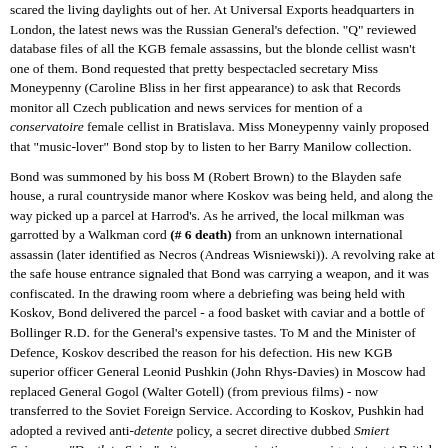scared the living daylights out of her. At Universal Exports headquarters in London, the latest news was the Russian General's defection. "Q" reviewed database files of all the KGB female assassins, but the blonde cellist wasn't one of them. Bond requested that pretty bespectacled secretary Miss Moneypenny (Caroline Bliss in her first appearance) to ask that Records monitor all Czech publication and news services for mention of a conservatoire female cellist in Bratislava. Miss Moneypenny vainly proposed that "music-lover" Bond stop by to listen to her Barry Manilow collection.
Bond was summoned by his boss M (Robert Brown) to the Blayden safe house, a rural countryside manor where Koskov was being held, and along the way picked up a parcel at Harrod's. As he arrived, the local milkman was garrotted by a Walkman cord (# 6 death) from an unknown international assassin (later identified as Necros (Andreas Wisniewski)). A revolving rake at the safe house entrance signaled that Bond was carrying a weapon, and it was confiscated. In the drawing room where a debriefing was being held with Koskov, Bond delivered the parcel - a food basket with caviar and a bottle of Bollinger R.D. for the General's expensive tastes. To M and the Minister of Defence, Koskov described the reason for his defection. His new KGB superior officer General Leonid Pushkin (John Rhys-Davies) in Moscow had replaced General Gogol (Walter Gotell) (from previous films) - now transferred to the Soviet Foreign Service. According to Koskov, Pushkin had adopted a revived anti-detente policy, a secret directive dubbed Smiert Spionom - "Death to Spies" - it was an assassination campaign to target British and American agents. Planting more doubts, Koskov warned the new policy would lead to mutual assassinations: "Soviet and Western intelligence